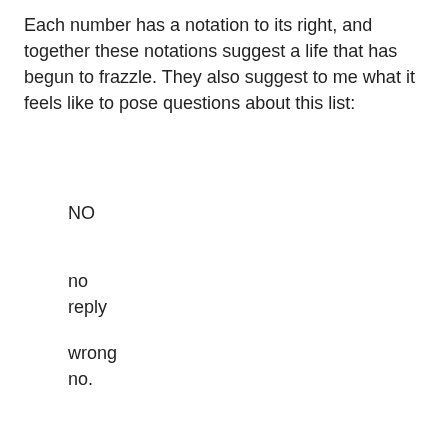Each number has a notation to its right, and together these notations suggest a life that has begun to frazzle. They also suggest to me what it feels like to pose questions about this list:
NO
no
reply
wrong
no.
No one's home, or at least no one who can answer my questions.
Related posts
Blue crayon
Found
Invitation to a dance